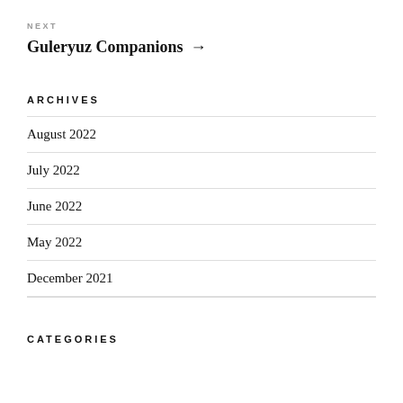NEXT
Guleryuz Companions →
ARCHIVES
August 2022
July 2022
June 2022
May 2022
December 2021
CATEGORIES